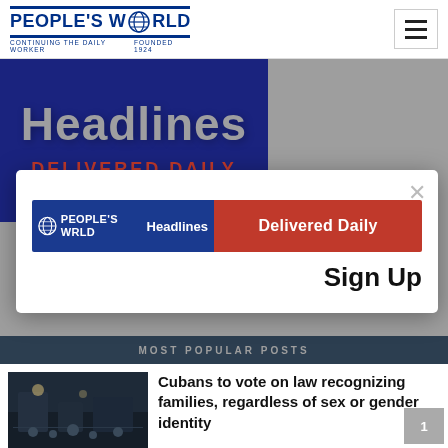PEOPLE'S WORLD - CONTINUING THE DAILY WORKER - FOUNDED 1924
[Figure (screenshot): People's World Headlines Delivered Daily banner with dark blue background, globe icon, and red text]
[Figure (screenshot): Modal popup with close X, People's World Headlines Delivered Daily banner (blue and red), and Sign Up button]
MOST POPULAR POSTS
[Figure (photo): Dark photo showing people in a dimly lit room]
Cubans to vote on law recognizing families, regardless of sex or gender identity